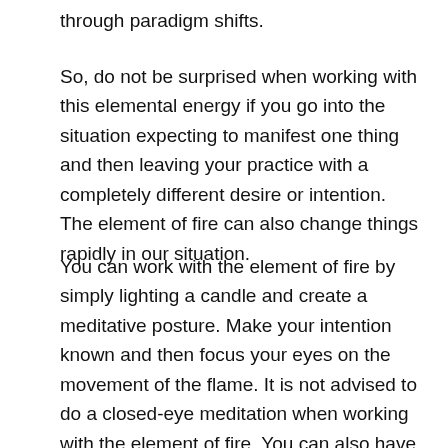through paradigm shifts.
So, do not be surprised when working with this elemental energy if you go into the situation expecting to manifest one thing and then leaving your practice with a completely different desire or intention. The element of fire can also change things rapidly in our situation.
You can work with the element of fire by simply lighting a candle and create a meditative posture. Make your intention known and then focus your eyes on the movement of the flame. It is not advised to do a closed-eye meditation when working with the element of fire. You can also have an outdoor campfire and focus on the flames with a specific intention.